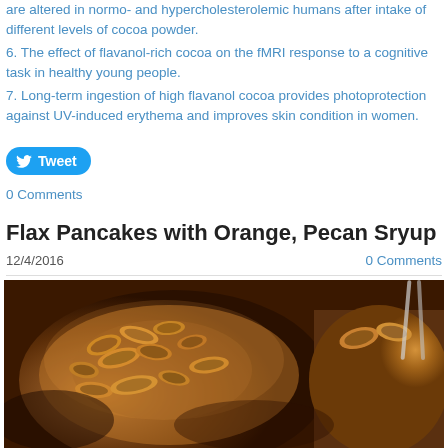are altered in normo- and hypercholesterolemic humans after intake of different levels of cocoa powder.
6. The effect of flavanol-rich cocoa on the fMRI response to a cognitive task in healthy young people.
7. Long-term ingestion of high flavanol cocoa provides photoprotection against UV-induced erythema and improves skin condition in women.
Tweet
0 Comments
Flax Pancakes with Orange, Pecan Sryup
12/4/2016
0 Comments
[Figure (photo): Close-up photo of flax pancakes topped with pecans and orange syrup, showing golden-brown pancakes with nuts on top]